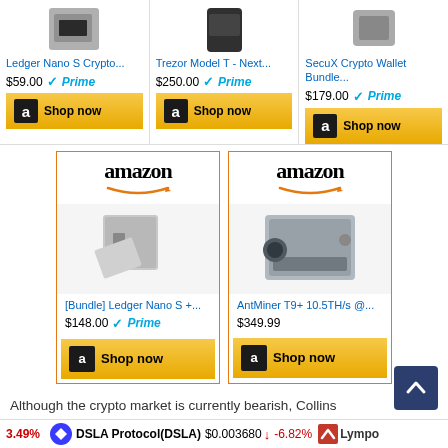[Figure (screenshot): Amazon product listing cards showing Ledger Nano S Crypto... $59.00 Prime, Trezor Model T - Next... $250.00 Prime, SecuX Crypto Wallet Bundle... $179.00 Prime, each with Shop now buttons]
[Figure (screenshot): Two Amazon ad tiles: [Bundle] Ledger Nano S +... $148.00 Prime, AntMiner T9+ 10.5TH/s @... $349.99, each with Shop now buttons]
Although the crypto market is currently bearish, Collins
3.49%   DSLA Protocol(DSLA)  $0.003680  ↓ -6.82%   Lympo